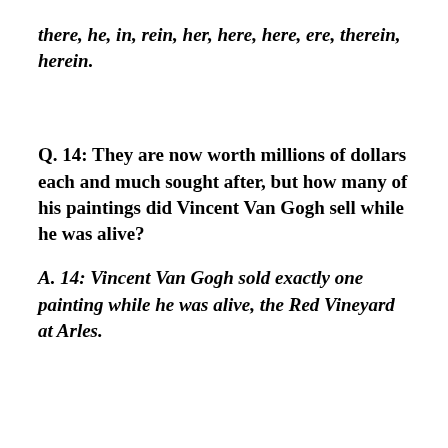there, he, in, rein, her, here, here, ere, therein, herein.
Q.  14: They are now worth millions of dollars each and much sought after, but how many of his paintings did Vincent Van Gogh sell while he was alive?
A.  14: Vincent Van Gogh sold exactly one painting while he was alive, the Red Vineyard at Arles.